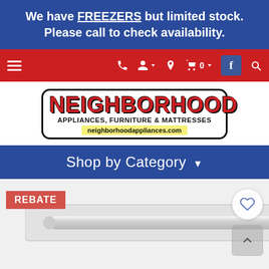We have FREEZERS but limited stock. Please call to check availability.
[Figure (screenshot): Red navigation bar with hamburger menu, phone icon, user icon, location icon, shopping cart with 0 items, dropdown arrow, Facebook icon, and search icon]
[Figure (logo): Neighborhood Appliances, Furniture & Mattresses logo with red block text on white background with black border, website neighborhoodappliances.com in yellow bar]
Shop by Category -
[Figure (photo): Product image showing a stainless steel refrigerator door handle with rose gold accent, REBATE badge in red at top left, wishlist heart button and scroll button on right side]